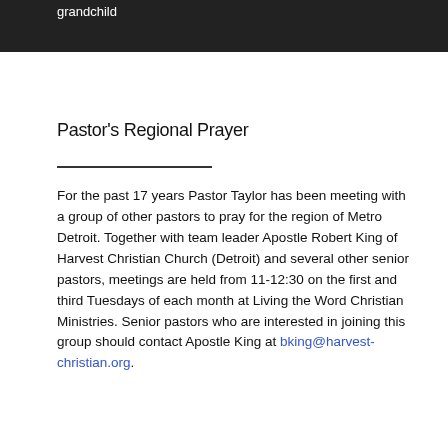grandchild
Pastor's Regional Prayer
For the past 17 years Pastor Taylor has been meeting with a group of other pastors to pray for the region of Metro Detroit. Together with team leader Apostle Robert King of Harvest Christian Church (Detroit) and several other senior pastors, meetings are held from 11-12:30 on the first and third Tuesdays of each month at Living the Word Christian Ministries. Senior pastors who are interested in joining this group should contact Apostle King at bking@harvest-christian.org.